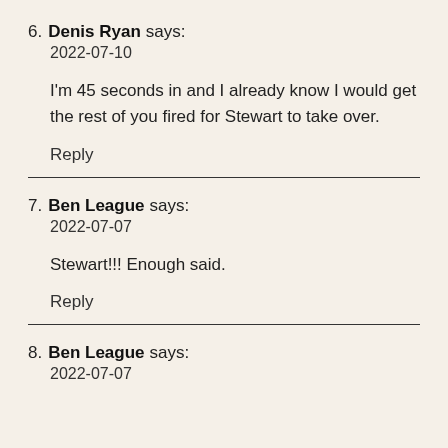6. Denis Ryan says:
2022-07-10

I'm 45 seconds in and I already know I would get the rest of you fired for Stewart to take over.

Reply
7. Ben League says:
2022-07-07

Stewart!!! Enough said.

Reply
8. Ben League says:
2022-07-07